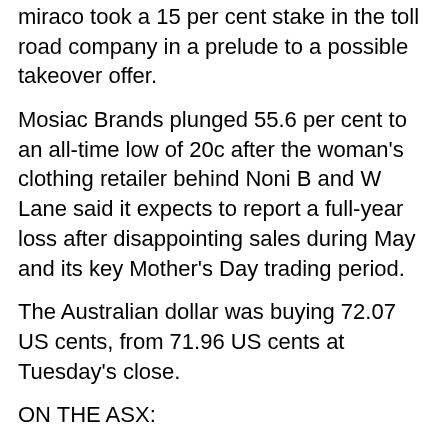miraco took a 15 per cent stake in the toll road company in a prelude to a possible takeover offer.
Mosiac Brands plunged 55.6 per cent to an all-time low of 20c after the woman's clothing retailer behind Noni B and W Lane said it expects to report a full-year loss after disappointing sales during May and its key Mother's Day trading period.
The Australian dollar was buying 72.07 US cents, from 71.96 US cents at Tuesday's close.
ON THE ASX:
The benchmark S&P/ASX200 index finished Wednesday up 25.4 points, or 0.36 per cent, to 7,121.1
The All Ordinaries index closed up 28.4 points, or 0.39 per cent, to 7,347.
CURRENCY SNAPSHOT:
One Australian dollar buys: